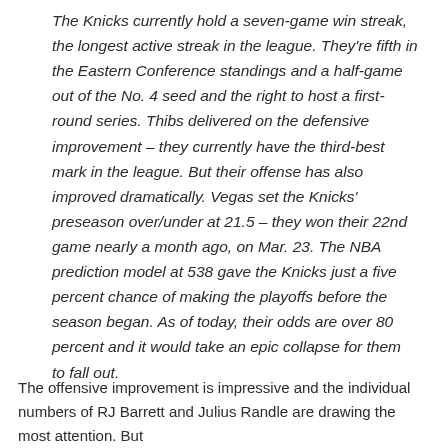The Knicks currently hold a seven-game win streak, the longest active streak in the league. They're fifth in the Eastern Conference standings and a half-game out of the No. 4 seed and the right to host a first-round series. Thibs delivered on the defensive improvement – they currently have the third-best mark in the league. But their offense has also improved dramatically. Vegas set the Knicks' preseason over/under at 21.5 – they won their 22nd game nearly a month ago, on Mar. 23. The NBA prediction model at 538 gave the Knicks just a five percent chance of making the playoffs before the season began. As of today, their odds are over 80 percent and it would take an epic collapse for them to fall out.
The offensive improvement is impressive and the individual numbers of RJ Barrett and Julius Randle are drawing the most attention. But